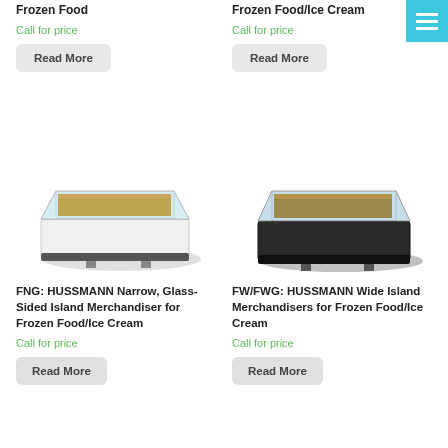Frozen Food
Frozen Food/Ice Cream
Call for price
Call for price
Read More
Read More
[Figure (photo): FNG: HUSSMANN Narrow, Glass-Sided Island Merchandiser for Frozen Food/Ice Cream - white unit]
[Figure (photo): FW/FWG: HUSSMANN Wide Island Merchandisers for Frozen Food/Ice Cream - dark unit]
FNG: HUSSMANN Narrow, Glass-Sided Island Merchandiser for Frozen Food/Ice Cream
FW/FWG: HUSSMANN Wide Island Merchandisers for Frozen Food/Ice Cream
Call for price
Call for price
Read More
Read More